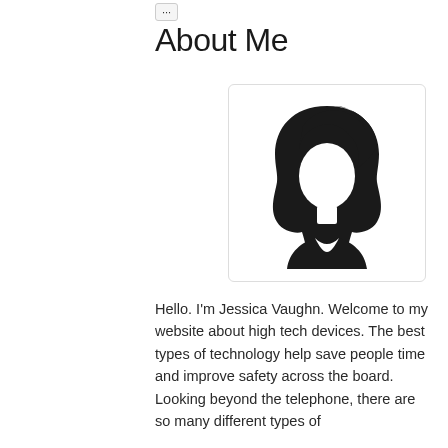...
About Me
[Figure (illustration): Generic female avatar silhouette icon in black, showing a woman with short bob-style hair, no facial features, with shoulders visible, inside a rounded rectangle card with light border.]
Hello. I'm Jessica Vaughn. Welcome to my website about high tech devices. The best types of technology help save people time and improve safety across the board. Looking beyond the telephone, there are so many different types of